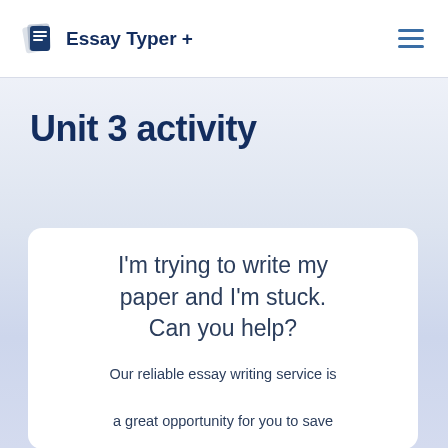Essay Typer +
Unit 3 activity
I'm trying to write my paper and I'm stuck. Can you help?
Our reliable essay writing service is a great opportunity for you to save